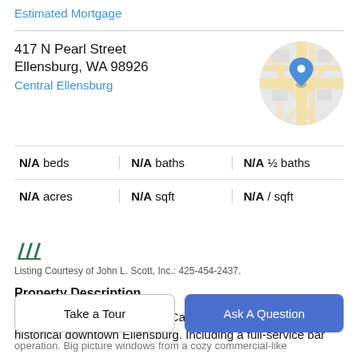Estimated Mortgage
417 N Pearl Street
Ellensburg, WA 98926
Central Ellensburg
[Figure (map): Circular map thumbnail showing a blue location pin over a street map of Ellensburg, WA]
| N/A beds | N/A baths | N/A ½ baths |
| N/A acres | N/A sqft | N/A / sqft |
[Figure (logo): John L. Scott real estate logo — green stylized triple-lines mark]
Listing Courtesy of John L. Scott, Inc.: 425-454-2437.
Property Description
Well established Restaurant/ Cafe/ Bakery for sale in historical downtown Ellensburg. Including a full-service bar
Take a Tour
Ask A Question
operation. Big picture windows from a cozy commercial-like